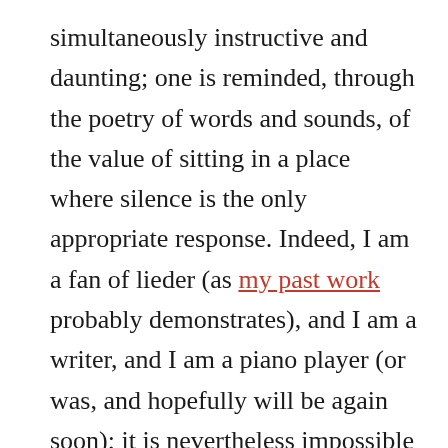simultaneously instructive and daunting; one is reminded, through the poetry of words and sounds, of the value of sitting in a place where silence is the only appropriate response. Indeed, I am a fan of lieder (as my past work probably demonstrates), and I am a writer, and I am a piano player (or was, and hopefully will be again soon); it is nevertheless impossible to parse the threads of these identities in experiencing the works of Schubert, Schumann, Strauss, Wolf, Brahms, Mahler (plus that of Goethe, Müller, Heine, Heyse, Morgenstern, Bethge) so intuitively performed. Such are the moments when intellect, instinct, and rather powerfully, curiosity, all magically, quietly meet. The pandemic era has forced one to make choices relating to the conscious endowment of attention; lieder has always